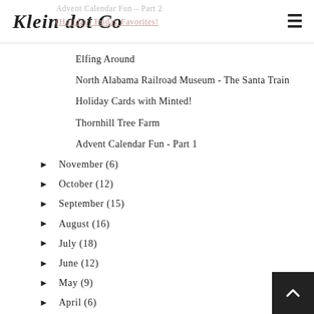Klein dot Co
Advent Calendar Fun - Part 2
(Holiday) Friday Favorites!
Elfing Around
North Alabama Railroad Museum - The Santa Train
Holiday Cards with Minted!
Thornhill Tree Farm
Advent Calendar Fun - Part 1
► November (6)
► October (12)
► September (15)
► August (16)
► July (18)
► June (12)
► May (9)
► April (6)